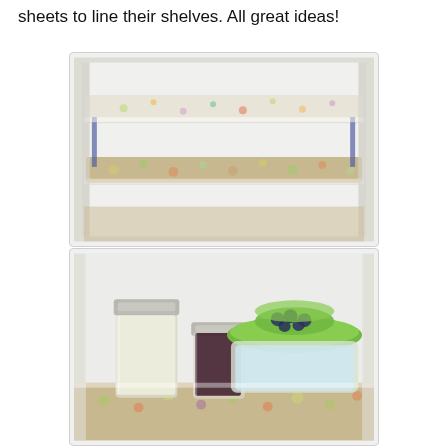sheets to line their shelves. All great ideas!
[Figure (photo): Interior of a refrigerator showing two shelves lined with decorative patterned shelf liner paper with a colorful floral/circle pattern on a beige background.]
[Figure (photo): Refrigerator shelf also lined with decorative patterned shelf liner, with three mason jars (one containing white food, one with dark jam/berries) and two green-lidded glass storage bowls containing blueberries.]